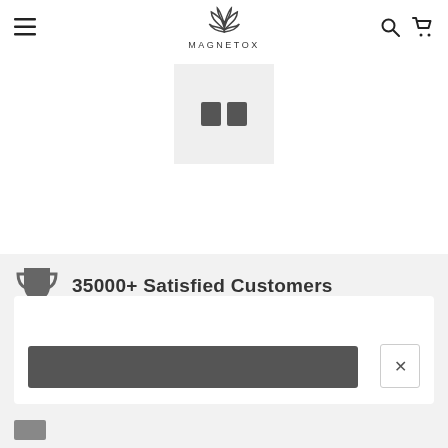MAGNETOX — navigation header with hamburger menu, logo, search and cart icons
[Figure (screenshot): Product image placeholder showing two small dark squares on a light grey background]
35000+ Satisfied Customers
[Figure (screenshot): White modal card with dark grey input bar and × close button]
[Figure (screenshot): Bottom strip with small icon rectangles visible at bottom of page]